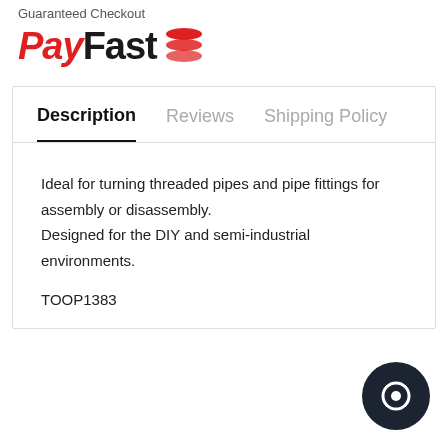Guaranteed Checkout
[Figure (logo): PayFast payment logo with red 'Pay' italic text, black 'Fast' bold text, and red stacked discs icon]
Description | Reviews | Shipping Policy
Ideal for turning threaded pipes and pipe fittings for assembly or disassembly.
Designed for the DIY and semi-industrial environments.
TOOP1383